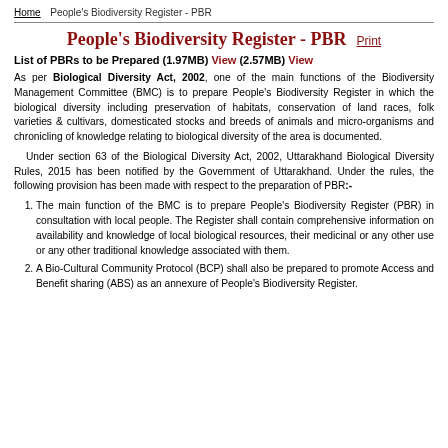Home   People's Biodiversity Register - PBR
People's Biodiversity Register - PBR
List of PBRs to be Prepared (1.97MB) View (2.57MB) View
As per Biological Diversity Act, 2002, one of the main functions of the Biodiversity Management Committee (BMC) is to prepare People's Biodiversity Register in which the biological diversity including preservation of habitats, conservation of land races, folk varieties & cultivars, domesticated stocks and breeds of animals and micro-organisms and chronicling of knowledge relating to biological diversity of the area is documented.
Under section 63 of the Biological Diversity Act, 2002, Uttarakhand Biological Diversity Rules, 2015 has been notified by the Government of Uttarakhand. Under the rules, the following provision has been made with respect to the preparation of PBR:-
The main function of the BMC is to prepare People's Biodiversity Register (PBR) in consultation with local people. The Register shall contain comprehensive information on availability and knowledge of local biological resources, their medicinal or any other use or any other traditional knowledge associated with them.
A Bio-Cultural Community Protocol (BCP) shall also be prepared to promote Access and Benefit sharing (ABS) as an annexure of People's Biodiversity Register.